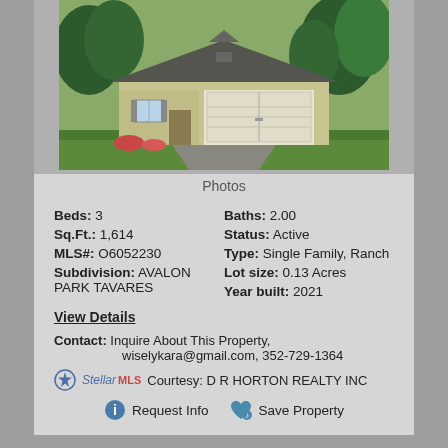[Figure (photo): Exterior photo of a single-family ranch-style home with two-car garage, beige siding, and landscaping]
Photos
Beds: 3   Baths: 2.00
Sq.Ft.: 1,614   Status: Active
MLS#: O6052230   Type: Single Family, Ranch
Subdivision: AVALON PARK TAVARES   Lot size: 0.13 Acres
Year built: 2021
View Details
Contact: Inquire About This Property, wiselykara@gmail.com, 352-729-1364
Courtesy: D R HORTON REALTY INC
Request Info   Save Property